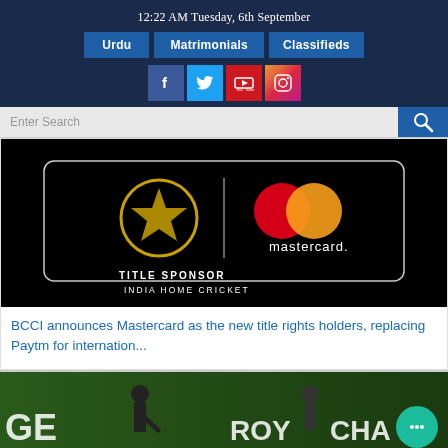12:22 AM Tuesday, 6th September
Urdu | Matrimonials | Classifieds
[Figure (screenshot): Navigation bar with social media icons: Facebook, Twitter, YouTube, Instagram]
Enter Search
[Figure (photo): Mastercard Title Sponsor India Home Cricket banner with BCCI logo and Mastercard logo on black background]
BCCI announces Mastercard as the new title rights holders, replacing Paytm for internation...
[Figure (photo): Cricket match photo showing a batsman playing a shot with another player in background, Royal Challengers text visible]